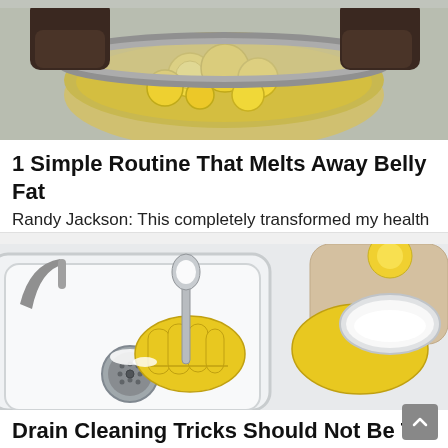[Figure (photo): Person holding a pot with lemon slices in liquid, overhead view]
1 Simple Routine That Melts Away Belly Fat
Randy Jackson: This completely transformed my health
Health Gut Boost | Sponsored
[Figure (photo): Person wearing yellow rubber gloves cleaning a kitchen sink drain with a spoon and baking soda]
Drain Cleaning Tricks Should Not Be T